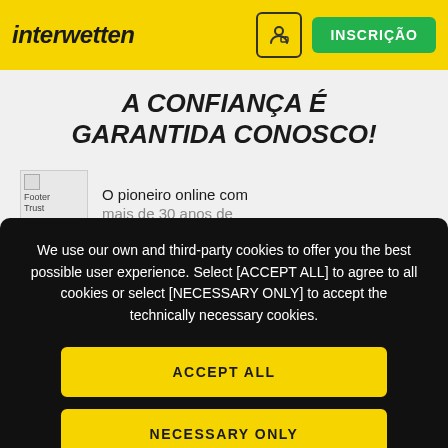interwetten | INSCRIÇÃO
A CONFIANÇA É GARANTIDA CONOSCO!
[Figure (logo): Footer Trust badge placeholder image]
O pioneiro online com mais de 30 anos de
We use our own and third-party cookies to offer you the best possible user experience. Select [ACCEPT ALL] to agree to all cookies or select [NECESSARY ONLY] to accept the technically necessary cookies.
ACCEPT ALL
NECESSARY ONLY
OPTIONS